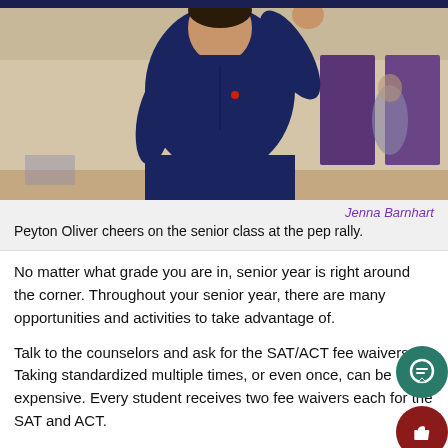[Figure (photo): A young man in a dark navy blue button-up shirt with arm raised, appearing to cheer, in a gymnasium-like setting with purple panels in the background.]
Jenna Barnhart
Peyton Oliver cheers on the senior class at the pep rally.
No matter what grade you are in, senior year is right around the corner. Throughout your senior year, there are many opportunities and activities to take advantage of.
Talk to the counselors and ask for the SAT/ACT fee waivers. Taking standardized multiple times, or even once, can be expensive. Every student receives two fee waivers each for the SAT and ACT.
Every school year, the school holds a free college application we... Take advantage of the colleges coming to talk and fill out the application. Even if you are undecided on your major or the co... you want to attend, it does not hurt to fill out a free application.